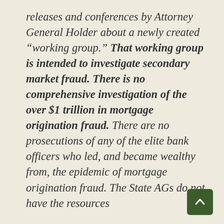releases and conferences by Attorney General Holder about a newly created “working group.” That working group is intended to investigate secondary market fraud. There is no comprehensive investigation of the over $1 trillion in mortgage origination fraud. There are no prosecutions of any of the elite bank officers who led, and became wealthy from, the epidemic of mortgage origination fraud. The State AGs do not have the resources